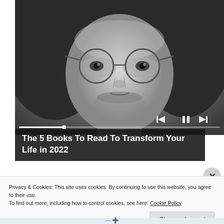[Figure (photo): Black and white close-up portrait of a man with round wire-rimmed glasses and long hair, with media player controls (previous, pause, next) and a progress bar overlaid at the bottom of the image.]
The 5 Books To Read To Transform Your Life in 2022
Privacy & Cookies: This site uses cookies. By continuing to use this website, you agree to their use.
To find out more, including how to control cookies, see here: Cookie Policy
Close and accept